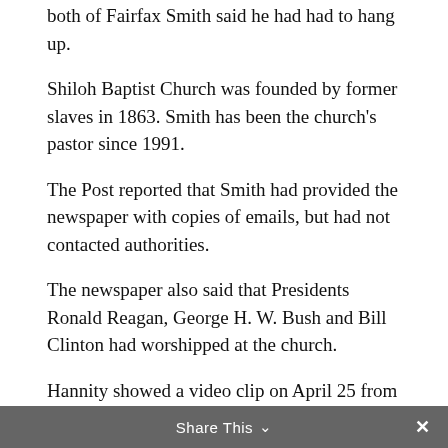both of Fairfax Smith said he had had to hang up.
Shiloh Baptist Church was founded by former slaves in 1863. Smith has been the church's pastor since 1991.
The Post reported that Smith had provided the newspaper with copies of emails, but had not contacted authorities.
The newspaper also said that Presidents Ronald Reagan, George H. W. Bush and Bill Clinton had worshipped at the church.
Hannity showed a video clip on April 25 from Eastern University in St. Davids, Pa., in which Smith said: "Jeremiah Wright never said anything that was wrong. What he said was that America owes some dues for its racist and its sexist and its classist
Share This ∨  ✕